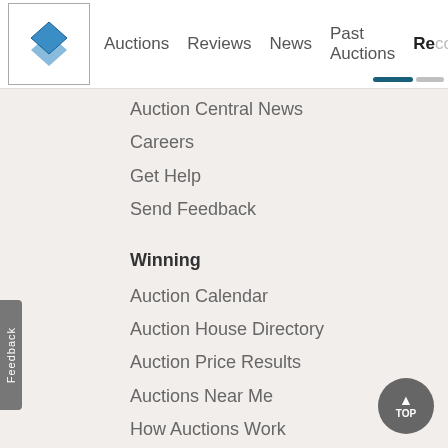Auctions   Reviews   News   Past Auctions   Reco
Auction Central News
Careers
Get Help
Send Feedback
Winning
Auction Calendar
Auction House Directory
Auction Price Results
Auctions Near Me
How Auctions Work
Selling
Auctioneer Sign-In
Become a Seller